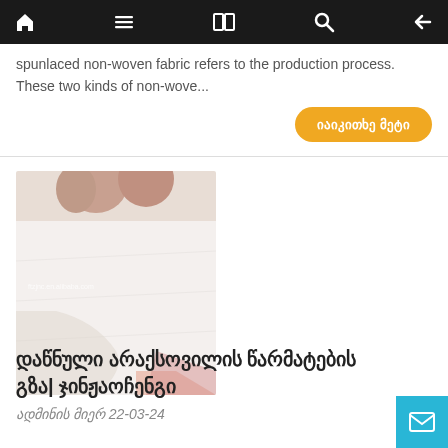[Navigation bar with home, menu, book, search, and back icons]
spunlaced non-woven fabric refers to the production process. These two kinds of non-wove...
იაიკითხე მეტი
[Figure (photo): Close-up photo of white non-woven fabric being held, with watermark 'ftzjnc.en.alibaba.com']
დაწნული არაქსოვილის წარმატების გზა| ჯინჟაოჩენგი
ადმინის მიერ 22-03-24